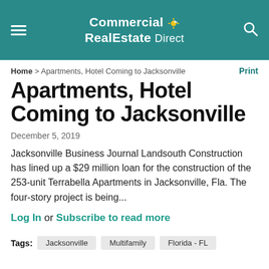Commercial RealEstate Direct
Home > Apartments, Hotel Coming to Jacksonville  Print
Apartments, Hotel Coming to Jacksonville
December 5, 2019
Jacksonville Business Journal Landsouth Construction has lined up a $29 million loan for the construction of the 253-unit Terrabella Apartments in Jacksonville, Fla. The four-story project is being...
Log In or Subscribe to read more
Tags: Jacksonville  Multifamily  Florida - FL